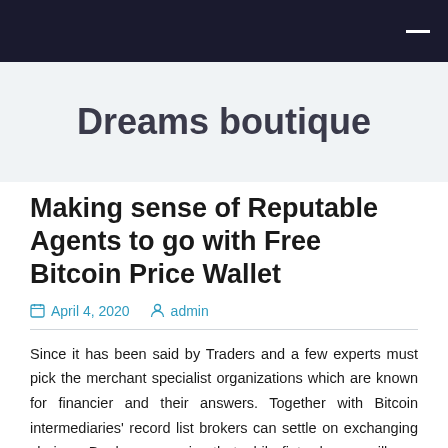Dreams boutique
Making sense of Reputable Agents to go with Free Bitcoin Price Wallet
April 4, 2020   admin
Since it has been said by Traders and a few experts must pick the merchant specialist organizations which are known for financier and their answers. Together with Bitcoin intermediaries' record list brokers can settle on exchanging choices. Dealers recognize that while fiat advance will run, Bitcoin is probably going to bear down. Clearly experiencing a meeting of business firms, giving the Bitcoin trade that is